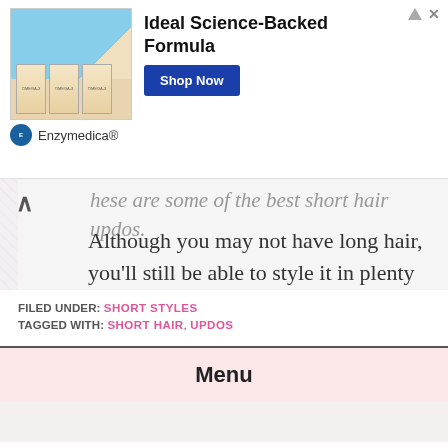[Figure (screenshot): Advertisement banner for Enzymedica Omega-3 product with 'Ideal Science-Backed Formula' heading and 'Shop Now' button]
hese are some of the best short hair updos. Although you may not have long hair, you'll still be able to style it in plenty of different ways. These options are great because they're simple, they won't take you very long to do, and they'll look amazing.
FILED UNDER: SHORT STYLES
TAGGED WITH: SHORT HAIR, UPDOS
Menu